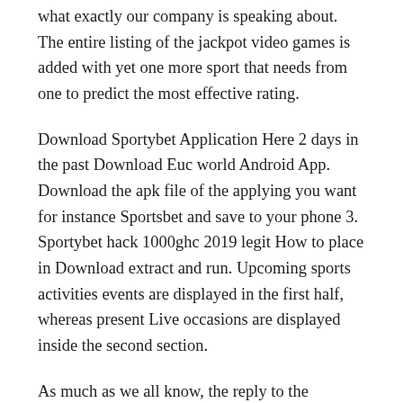what exactly our company is speaking about. The entire listing of the jackpot video games is added with yet one more sport that needs from one to predict the most effective rating.
Download Sportybet Application Here 2 days in the past Download Euc world Android App. Download the apk file of the applying you want for instance Sportsbet and save to your phone 3. Sportybet hack 1000ghc 2019 legit How to place in Download extract and run. Upcoming sports activities events are displayed in the first half, whereas present Live occasions are displayed inside the second section.
As much as we all know, the reply to the concern of the best way to revive the historical past of bets in 1xBet